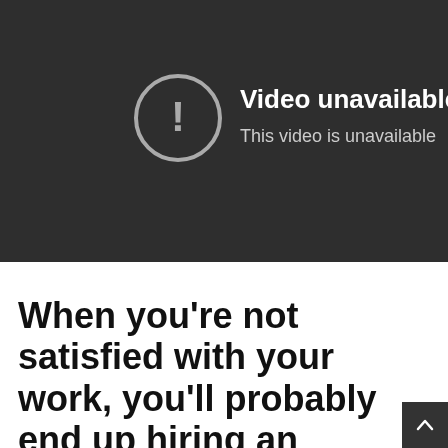[Figure (screenshot): YouTube-style video unavailable error screen with dark background, a circle-exclamation icon, the text 'Video unavailable' and 'This video is unavailable']
When you're not satisfied with your work, you'll probably end up hiring an